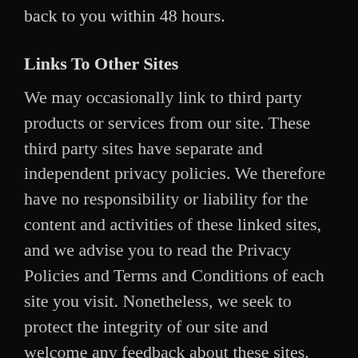back to you within 48 hours.
Links To Other Sites
We may occasionally link to third party products or services from our site. These third party sites have separate and independent privacy policies. We therefore have no responsibility or liability for the content and activities of these linked sites, and we advise you to read the Privacy Policies and Terms and Conditions of each site you visit. Nonetheless, we seek to protect the integrity of our site and welcome any feedback about these sites.
Security
The security of your personal information is important to us, and we do our best to